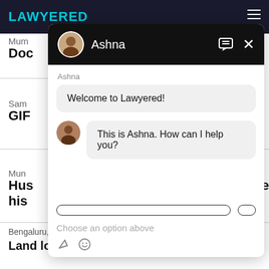LAWYERED
Mum
Doc
Sam
GIF
Mun
Hus ... ve his
Bengaluru,  28 Jun, 2021,  (1 year, 1 month ago)
Land lord not returning lease amount
[Figure (screenshot): Chat widget overlay showing Lawyered chat interface with agent named Ashna. Header is black with agent photo, name 'Ashna', chat icon and X close button. Chat body shows two messages: 'Welcome to Lawyered!' and 'This is Ashna. How can I help you?' with agent avatar. Below are option buttons and placeholder text 'Choose an option above'. Footer has attachment and emoji icons.]